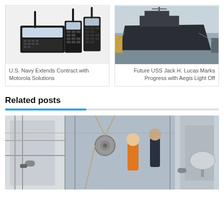[Figure (photo): Photo of Motorola radio communication devices including handheld radios and a base unit on a white background]
U.S. Navy Extends Contract with Motorola Solutions
[Figure (photo): Photo of future USS Jack H. Lucas naval destroyer ship docked at a shipyard]
Future USS Jack H. Lucas Marks Progress with Aegis Light Off
Related posts
[Figure (photo): Photo of Navy crew members working on ship deck equipment and rigging]